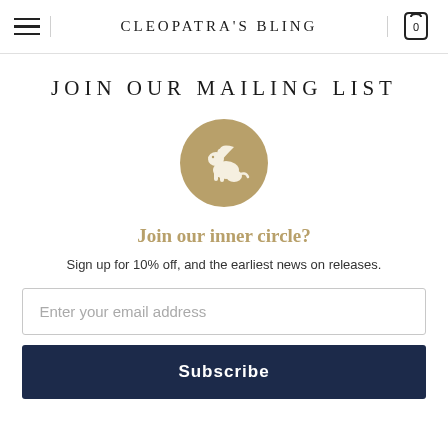CLEOPATRA'S BLING
JOIN OUR MAILING LIST
[Figure (logo): Gold circular logo with a griffin (winged lion) emblem representing Cleopatra's Bling brand]
Join our inner circle?
Sign up for 10% off, and the earliest news on releases.
Enter your email address
Subscribe